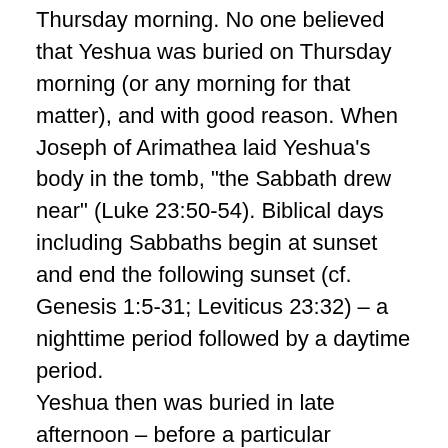Thursday morning. No one believed that Yeshua was buried on Thursday morning (or any morning for that matter), and with good reason. When Joseph of Arimathea laid Yeshua’s body in the tomb, “the Sabbath drew near” (Luke 23:50-54). Biblical days including Sabbaths begin at sunset and end the following sunset (cf. Genesis 1:5-31; Leviticus 23:32) – a nighttime period followed by a daytime period.
Yeshua then was buried in late afternoon – before a particular Sabbath began at sunset. Three days and three nights later would be the same time of day, or late afternoon! Now we